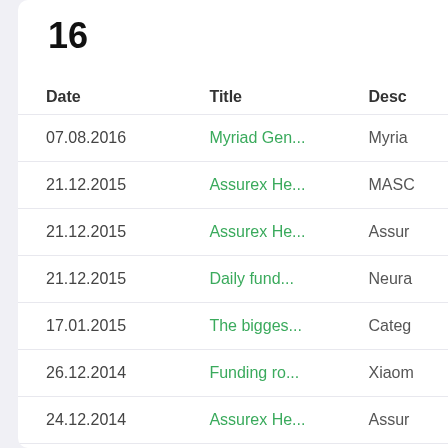16
| Date | Title | Desc |
| --- | --- | --- |
| 07.08.2016 | Myriad Gen... | Myria |
| 21.12.2015 | Assurex He... | MASC |
| 21.12.2015 | Assurex He... | Assur |
| 21.12.2015 | Daily fund... | Neura |
| 17.01.2015 | The bigges... | Categ |
| 26.12.2014 | Funding ro... | Xiaom |
| 24.12.2014 | Assurex He... | Assur |
| 24.12.2014 | Assurex He... | MASC |